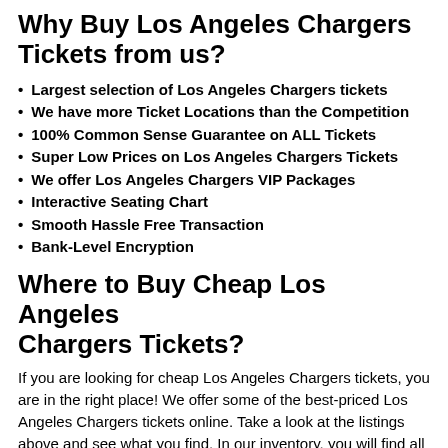Why Buy Los Angeles Chargers Tickets from us?
Largest selection of Los Angeles Chargers tickets
We have more Ticket Locations than the Competition
100% Common Sense Guarantee on ALL Tickets
Super Low Prices on Los Angeles Chargers Tickets
We offer Los Angeles Chargers VIP Packages
Interactive Seating Chart
Smooth Hassle Free Transaction
Bank-Level Encryption
Where to Buy Cheap Los Angeles Chargers Tickets?
If you are looking for cheap Los Angeles Chargers tickets, you are in the right place! We offer some of the best-priced Los Angeles Chargers tickets online. Take a look at the listings above and see what you find. In our inventory, you will find all types of tickets like Front row, General Admission, Meet & Greet, Upper-Level, Lower-Level, and many other types of Los Angeles Chargers tickets. We obtain our tickets from ticket brokers, season ticket holders, fans,